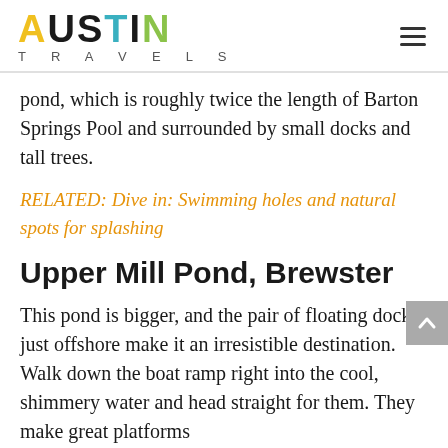AUSTIN TRAVELS
pond, which is roughly twice the length of Barton Springs Pool and surrounded by small docks and tall trees.
RELATED: Dive in: Swimming holes and natural spots for splashing
Upper Mill Pond, Brewster
This pond is bigger, and the pair of floating docks just offshore make it an irresistible destination. Walk down the boat ramp right into the cool, shimmery water and head straight for them. They make great platforms